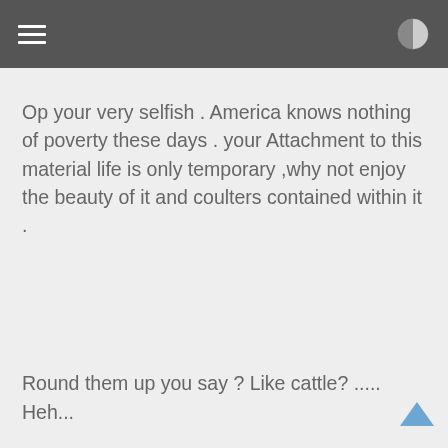Op your very selfish . America knows nothing of poverty these days . your Attachment to this material life is only temporary ,why not enjoy the beauty of it and coulters contained within it .
Round them up you say ? Like cattle? ..... Heh...